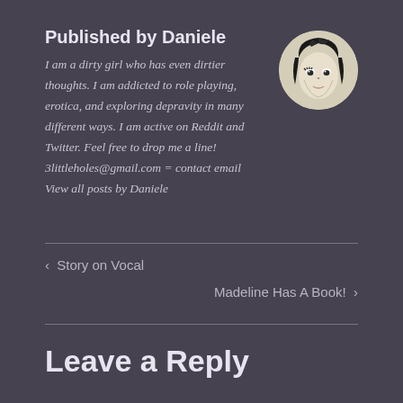Published by Daniele
I am a dirty girl who has even dirtier thoughts. I am addicted to role playing, erotica, and exploring depravity in many different ways. I am active on Reddit and Twitter. Feel free to drop me a line! 3littleholes@gmail.com = contact email View all posts by Daniele
[Figure (illustration): Circular avatar showing a sketched anime-style female face with dark hair on a light background]
‹  Story on Vocal
Madeline Has A Book!  ›
Leave a Reply